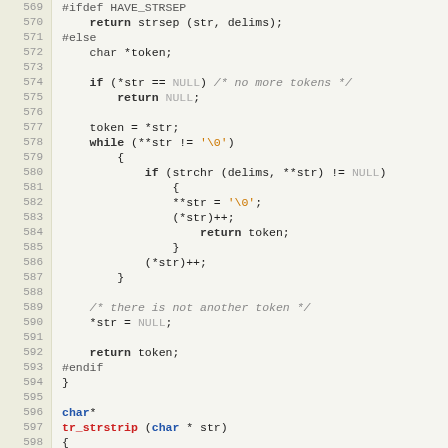[Figure (screenshot): C source code listing showing lines 569-600 of a C file. Code includes #ifdef HAVE_STRSEP, a strsep implementation with while loop, and the beginning of tr_strstrip function.]